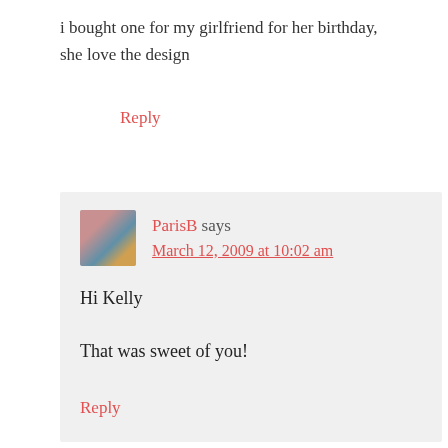i bought one for my girlfriend for her birthday, she love the design
Reply
ParisB says
March 12, 2009 at 10:02 am
Hi Kelly
That was sweet of you!
Reply